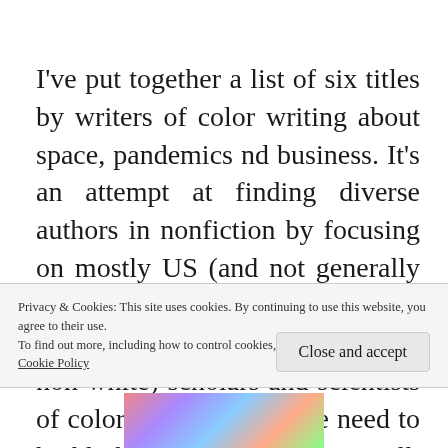I've put together a list of six titles by writers of color writing about space, pandemics nd business. It's an attempt at finding diverse authors in nonfiction by focusing on mostly US (and not generally Chinese, or Indian authors, because PoC is not the same as non-white) scholars and scientists of color, but of course we need to highlight other voices as well. Sometimes it's a bit more
Privacy & Cookies: This site uses cookies. By continuing to use this website, you agree to their use.
To find out more, including how to control cookies, see here:
Cookie Policy
Close and accept
[Figure (photo): Colorful abstract image visible at the bottom of the page]